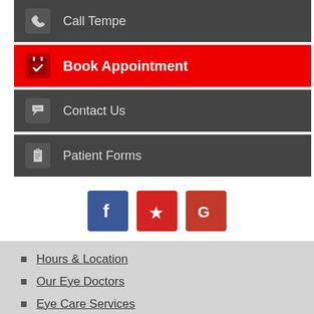Call Tempe
Book Appointment
Contact Us
Patient Forms
[Figure (infographic): Social media icons: Facebook (blue), Yelp (red), Google (red-orange)]
Hours & Location
Our Eye Doctors
Eye Care Services
Eyeglasses & Contacts